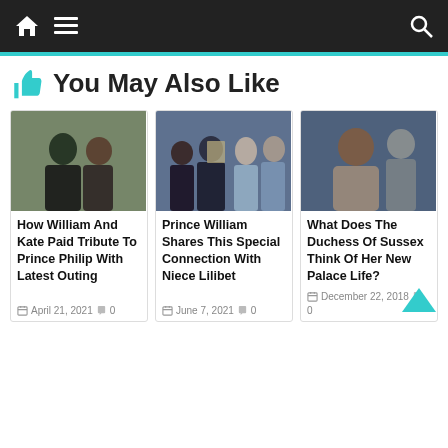Navigation bar with home, menu, and search icons
👍 You May Also Like
[Figure (photo): Photo of Prince William and Kate Middleton]
How William And Kate Paid Tribute To Prince Philip With Latest Outing
April 21, 2021  🗨 0
[Figure (photo): Photo of Meghan, Prince Harry, Prince William and Kate on balcony]
Prince William Shares This Special Connection With Niece Lilibet
June 7, 2021  🗨 0
[Figure (photo): Photo of Meghan Markle, Duchess of Sussex]
What Does The Duchess Of Sussex Think Of Her New Palace Life?
December 22, 2018  🗨 0